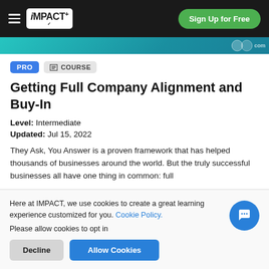iMPACT+ | Sign Up for Free
[Figure (screenshot): Teal/blue-green image strip at top of course page]
PRO  COURSE
Getting Full Company Alignment and Buy-In
Level: Intermediate
Updated: Jul 15, 2022
They Ask, You Answer is a proven framework that has helped thousands of businesses around the world. But the truly successful businesses all have one thing in common: full
Here at IMPACT, we use cookies to create a great learning experience customized for you. Cookie Policy.
Please allow cookies to opt in
Decline
Allow Cookies